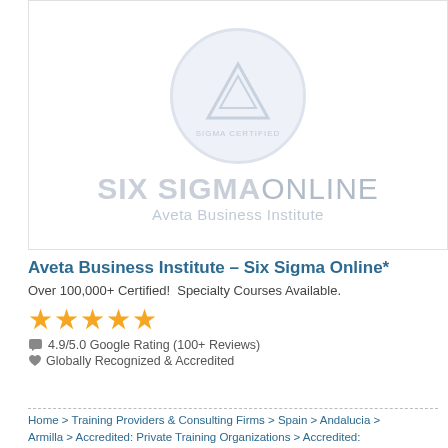[Figure (logo): Six Sigma Online - Aveta Business Institute logo: circular emblem with triangle/mountain shape in light blue-gray, company name 'SIX SIGMA ONLINE' in large faded text, subtitle 'Aveta Business Institute']
Aveta Business Institute – Six Sigma Online*
Over 100,000+ Certified!  Specialty Courses Available.
[Figure (infographic): Five gold/orange stars rating display]
4.9/5.0 Google Rating (100+ Reviews)
Globally Recognized & Accredited
Home > Training Providers & Consulting Firms > Spain > Andalucia > Armilla > Accredited: Private Training Organizations > Accredited: